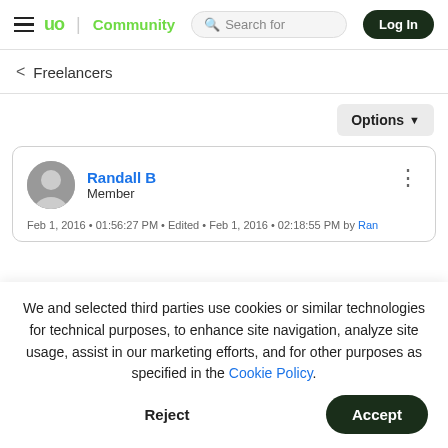uo Community | Search for | Log In
< Freelancers
Options ▼
Randall B
Member
Feb 1, 2016 • 01:56:27 PM • Edited • Feb 1, 2016 • 02:18:55 PM by Ran
We and selected third parties use cookies or similar technologies for technical purposes, to enhance site navigation, analyze site usage, assist in our marketing efforts, and for other purposes as specified in the Cookie Policy.
Accept
Reject